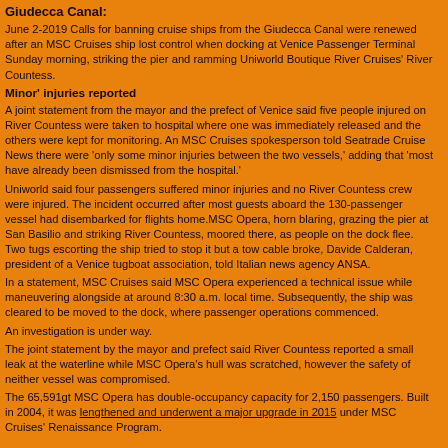Giudecca Canal:
June 2-2019 Calls for banning cruise ships from the Giudecca Canal were renewed after an MSC Cruises ship lost control when docking at Venice Passenger Terminal Sunday morning, striking the pier and ramming Uniworld Boutique River Cruises' River Countess.
Minor' injuries reported
A joint statement from the mayor and the prefect of Venice said five people injured on River Countess were taken to hospital where one was immediately released and the others were kept for monitoring. An MSC Cruises spokesperson told Seatrade Cruise News there were 'only some minor injuries between the two vessels,' adding that 'most have already been dismissed from the hospital.'
Uniworld said four passengers suffered minor injuries and no River Countess crew were injured. The incident occurred after most guests aboard the 130-passenger vessel had disembarked for flights home.MSC Opera, horn blaring, grazing the pier at San Basilio and striking River Countess, moored there, as people on the dock flee. Two tugs escorting the ship tried to stop it but a tow cable broke, Davide Calderan, president of a Venice tugboat association, told Italian news agency ANSA.
In a statement, MSC Cruises said MSC Opera experienced a technical issue while maneuvering alongside at around 8:30 a.m. local time. Subsequently, the ship was cleared to be moved to the dock, where passenger operations commenced.
An investigation is under way.
The joint statement by the mayor and prefect said River Countess reported a small leak at the waterline while MSC Opera's hull was scratched, however the safety of neither vessel was compromised.
The 65,591gt MSC Opera has double-occupancy capacity for 2,150 passengers. Built in 2004, it was lengthened and underwent a major upgrade in 2015 under MSC Cruises' Renaissance Program.